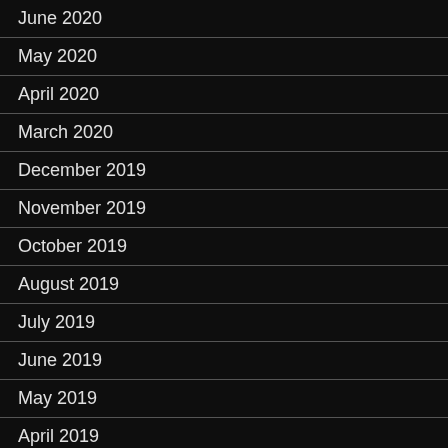June 2020
May 2020
April 2020
March 2020
December 2019
November 2019
October 2019
August 2019
July 2019
June 2019
May 2019
April 2019
March 2019